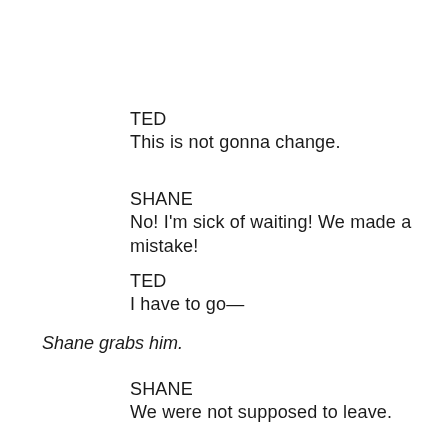TED
This is not gonna change.
SHANE
No! I'm sick of waiting! We made a mistake!
TED
I have to go—
Shane grabs him.
SHANE
We were not supposed to leave.